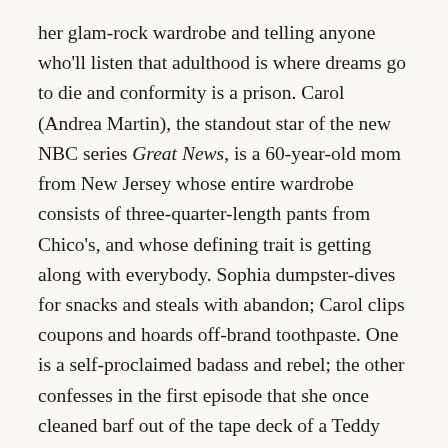her glam-rock wardrobe and telling anyone who'll listen that adulthood is where dreams go to die and conformity is a prison. Carol (Andrea Martin), the standout star of the new NBC series Great News, is a 60-year-old mom from New Jersey whose entire wardrobe consists of three-quarter-length pants from Chico's, and whose defining trait is getting along with everybody. Sophia dumpster-dives for snacks and steals with abandon; Carol clips coupons and hoards off-brand toothpaste. One is a self-proclaimed badass and rebel; the other confesses in the first episode that she once cleaned barf out of the tape deck of a Teddy Ruxpin.